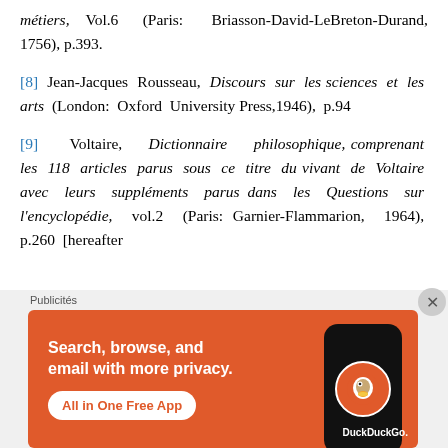métiers, Vol.6 (Paris: Briasson-David-LeBreton-Durand, 1756), p.393.
[8] Jean-Jacques Rousseau, Discours sur les sciences et les arts (London: Oxford University Press,1946), p.94
[9] Voltaire, Dictionnaire philosophique, comprenant les 118 articles parus sous ce titre du vivant de Voltaire avec leurs suppléments parus dans les Questions sur l'encyclopédie, vol.2 (Paris: Garnier-Flammarion, 1964), p.260 [hereafter
[Figure (other): DuckDuckGo advertisement banner with orange background showing 'Search, browse, and email with more privacy. All in One Free App' with a phone graphic and DuckDuckGo logo.]